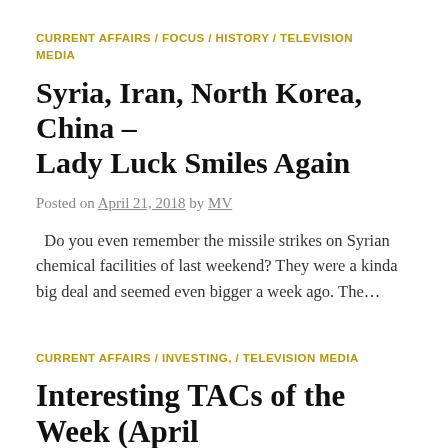CURRENT AFFAIRS / FOCUS / HISTORY / TELEVISION MEDIA
Syria, Iran, North Korea, China – Lady Luck Smiles Again
Posted on April 21, 2018 by MV
Do you even remember the missile strikes on Syrian chemical facilities of last weekend? They were a kinda big deal and seemed even bigger a week ago. The…
CURRENT AFFAIRS / INVESTING, / TELEVISION MEDIA
Interesting TACs of the Week (April 14 – April 20, 2018)